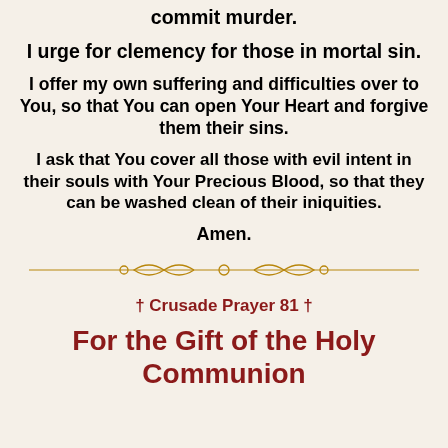commit murder.
I urge for clemency for those in mortal sin.
I offer my own suffering and difficulties over to You, so that You can open Your Heart and forgive them their sins.
I ask that You cover all those with evil intent in their souls with Your Precious Blood, so that they can be washed clean of their iniquities.
Amen.
[Figure (illustration): Decorative ornamental divider line in gold/brown color with scroll and circle motifs]
† Crusade Prayer 81 †
For the Gift of the Holy Communion